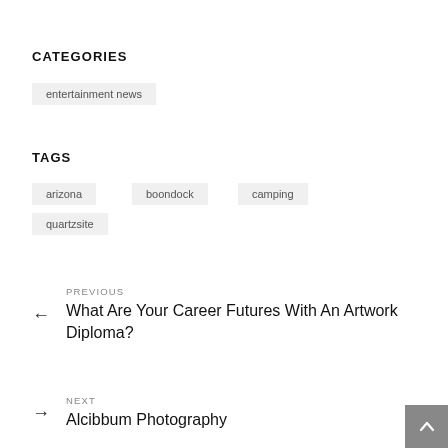CATEGORIES
entertainment news
TAGS
arizona
boondock
camping
quartzsite
PREVIOUS
What Are Your Career Futures With An Artwork Diploma?
NEXT
Alcibbum Photography